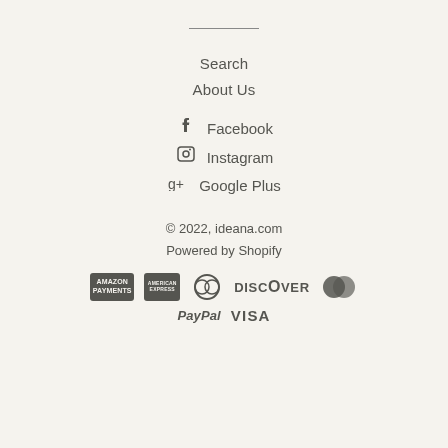[Figure (other): Horizontal divider line]
Search
About Us
Facebook
Instagram
Google Plus
© 2022, ideana.com
Powered by Shopify
[Figure (other): Payment method icons: Amazon Payments, American Express, Diners Club, Discover, MasterCard, PayPal, Visa]